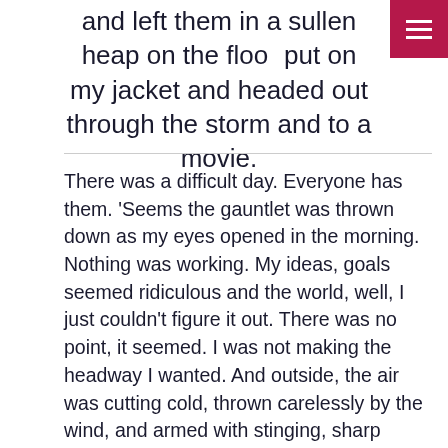and left them in a sullen heap on the floor. I put on my jacket and headed out through the storm and to a movie.
There was a difficult day. Everyone has them. 'Seems the gauntlet was thrown down as my eyes opened in the morning. Nothing was working. My ideas, goals seemed ridiculous and the world, well, I just couldn't figure it out. There was no point, it seemed. I was not making the headway I wanted. And outside, the air was cutting cold, thrown carelessly by the wind, and armed with stinging, sharp snow.
In a fit, I shrugged off my useless efforts and left them in a sullen heap on the floor. I put on my jacket and headed out through the storm and to a movie.